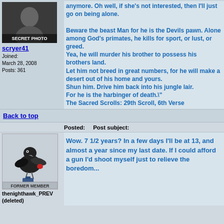anymore. Oh well, if she's not interested, then I'll just go on being alone.
[Figure (photo): Avatar photo with SECRET PHOTO label, dark image of a person]
scryer41
Joined: March 28, 2008
Posts: 361
Beware the beast Man for he is the Devils pawn. Alone among God's primates, he kills for sport, or lust, or greed. Yea, he will murder his brother to possess his brothers land. Let him not breed in great numbers, for he will make a desert out of his home and yours. Shun him. Drive him back into his jungle lair. For he is the harbinger of death." The Sacred Scrolls: 29th Scroll, 6th Verse
Back to top
Posted:    Post subject:
[Figure (illustration): Avatar of a bird/crow character carrying a bag, FORMER MEMBER label below]
thenighthawk_PREV (deleted)
Wow. 7 1/2 years? In a few days I'll be at 13, and almost a year since my last date. If I could afford a gun I'd shoot myself just to relieve the boredom...